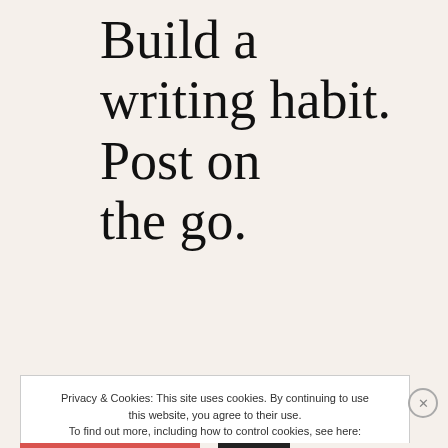Build a writing habit. Post on the go.
GET THE APP
Privacy & Cookies: This site uses cookies. By continuing to use this website, you agree to their use. To find out more, including how to control cookies, see here: Cookie Policy
Close and accept